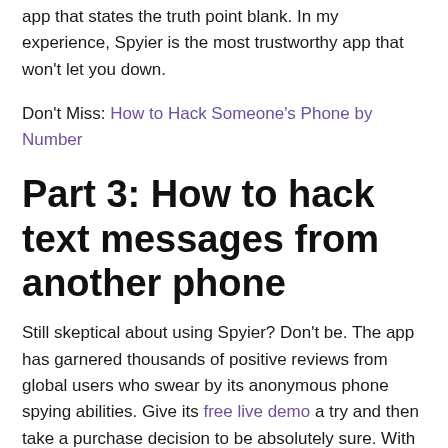app that states the truth point blank. In my experience, Spyier is the most trustworthy app that won't let you down.
Don't Miss: How to Hack Someone's Phone by Number
Part 3: How to hack text messages from another phone
Still skeptical about using Spyier? Don't be. The app has garnered thousands of positive reviews from global users who swear by its anonymous phone spying abilities. Give its free live demo a try and then take a purchase decision to be absolutely sure. With Spyier, what you see is what you get!
To further help you in your quest to find the ultimate phone monitoring solution, herein I'm presenting another ingenious